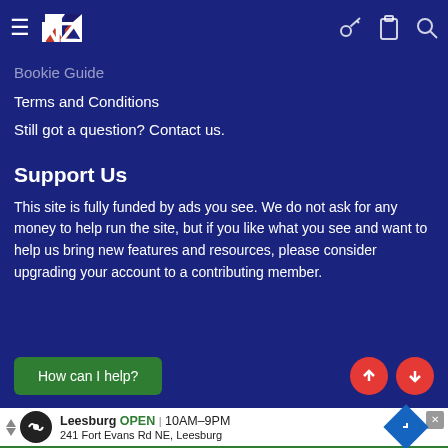NZ (logo navigation bar with hamburger menu, key, clipboard, and search icons)
Bookie Guide
Terms and Conditions
Still got a question? Contact us.
Support Us
This site is fully funded by ads you see. We do not ask for any money to help run the site, but if you like what you see and want to help us bring new features and resources, please consider upgrading your account to a contributing member.
How can I help?
[Figure (screenshot): Advertisement for Leesburg business showing OPEN 10AM-9PM, 241 Fort Evans Rd NE, Leesburg]